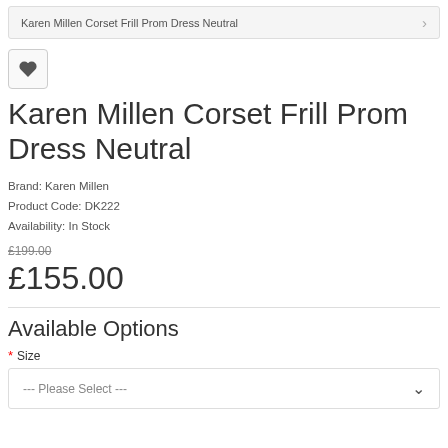Karen Millen Corset Frill Prom Dress Neutral
Karen Millen Corset Frill Prom Dress Neutral
Brand: Karen Millen
Product Code: DK222
Availability: In Stock
£199.00
£155.00
Available Options
* Size
--- Please Select ---